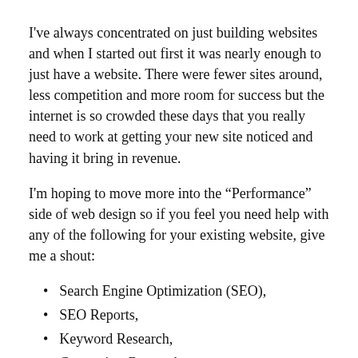I've always concentrated on just building websites and when I started out first it was nearly enough to just have a website. There were fewer sites around, less competition and more room for success but the internet is so crowded these days that you really need to work at getting your new site noticed and having it bring in revenue.
I'm hoping to move more into the “Performance” side of web design so if you feel you need help with any of the following for your existing website, give me a shout:
Search Engine Optimization (SEO),
SEO Reports,
Keyword Research,
Competitor Research,
Google Analytics,